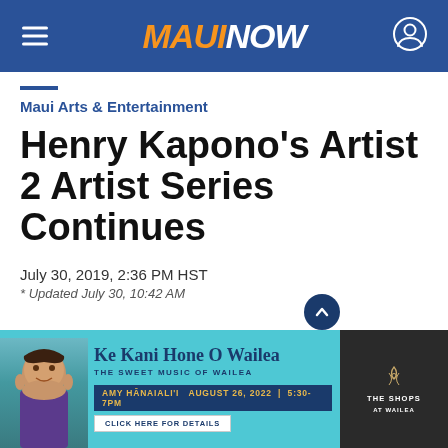MAUI NOW
Maui Arts & Entertainment
Henry Kapono's Artist 2 Artist Series Continues
July 30, 2019, 2:36 PM HST
* Updated July 30, 10:42 AM
[Figure (advertisement): Ad banner for Ke Kani Hone O Wailea – The Sweet Music of Wailea, featuring Amy Hānaiali'i on August 26, 2022, 5:30–7PM, Click Here for Details, The Shops at Wailea]